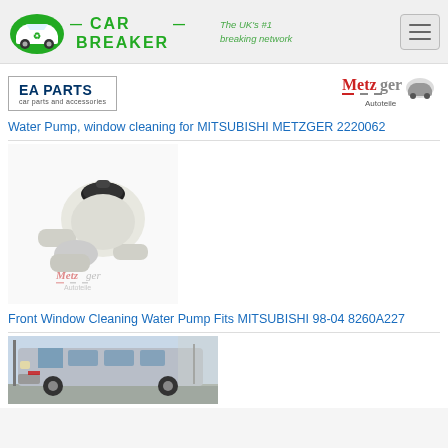[Figure (logo): Car Breaker website header with green car/recycle logo, 'CAR BREAKER' text in green, tagline 'The UK's #1 breaking network', and hamburger menu button]
[Figure (logo): EA Parts logo - 'EA PARTS' in bold blue text with 'car parts and accessories' subtitle, bordered box]
[Figure (logo): Metzger Autoteile logo in red and grey]
Water Pump, window cleaning for MITSUBISHI METZGER 2220062
[Figure (photo): White plastic water pump with black cap - Metzger branded product photo for window cleaning water pump]
Front Window Cleaning Water Pump Fits MITSUBISHI 98-04 8260A227
[Figure (photo): Silver Mitsubishi van/minivan front view in outdoor setting]